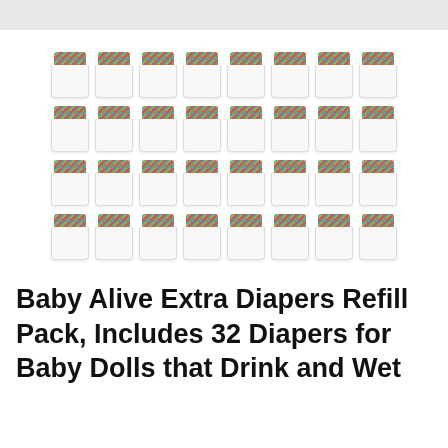[Figure (photo): Grid of 32 Baby Alive mini diapers arranged in 4 rows of 8, each diaper white with a colorful patterned waistband]
Baby Alive Extra Diapers Refill Pack, Includes 32 Diapers for Baby Dolls that Drink and Wet